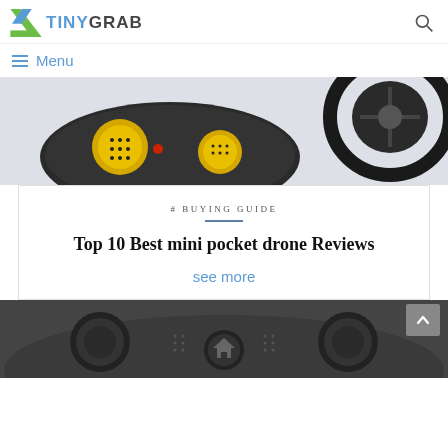TINYGRAB
≡ Menu
[Figure (photo): Top portion showing a drone controller with yellow joysticks and a drone/quadcopter ring guard on a white background]
# BUYING GUIDE
Top 10 Best mini pocket drone Reviews
see more
[Figure (photo): Bottom portion showing a game controller with circular joysticks, buttons, and a home icon on dark background]